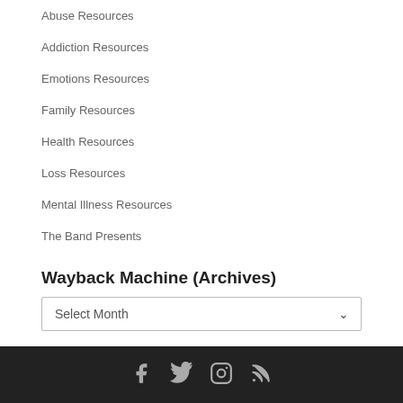Abuse Resources
Addiction Resources
Emotions Resources
Family Resources
Health Resources
Loss Resources
Mental Illness Resources
The Band Presents
Wayback Machine (Archives)
Select Month
Categories
Select Category
Social icons: Facebook, Twitter, Instagram, RSS